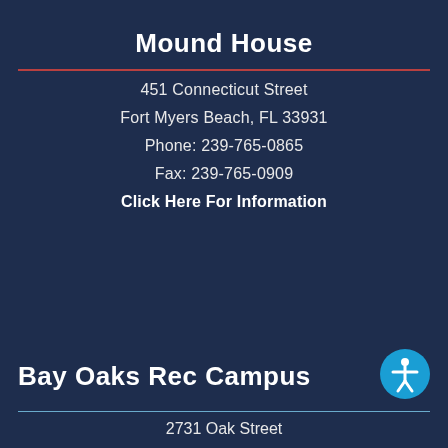Mound House
451 Connecticut Street
Fort Myers Beach, FL 33931
Phone: 239-765-0865
Fax: 239-765-0909
Click Here For Information
Bay Oaks Rec Campus
2731 Oak Street